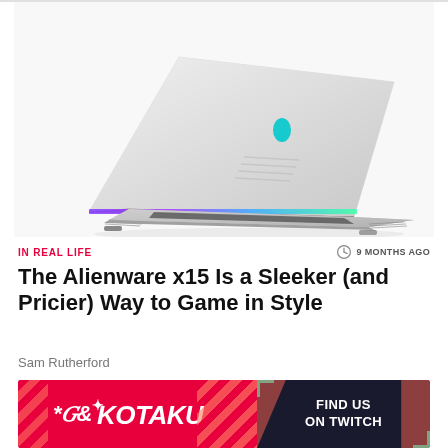[Figure (photo): Alienware x15 gaming laptop, white/silver color, shown from rear-left angle with lid open, teal Alienware logo on lid, RGB lighting strip along rear hinge, keyboard partially visible]
IN REAL LIFE
9 MONTHS AGO
The Alienware x15 Is a Sleeker (and Pricier) Way to Game in Style
Sam Rutherford
[Figure (logo): Kotaku advertisement banner: red background with Kotaku logo on left, dark right panel with 'FIND US ON TWITCH' text, diagonal stripe decorations]